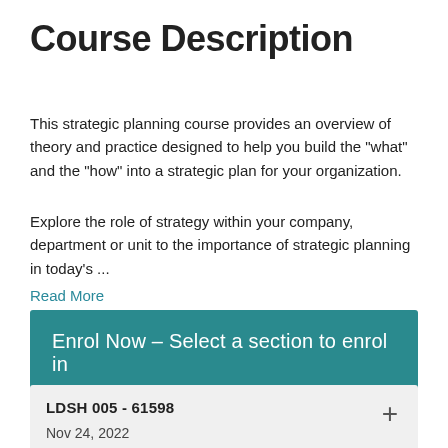Course Description
This strategic planning course provides an overview of theory and practice designed to help you build the "what" and the "how" into a strategic plan for your organization.
Explore the role of strategy within your company, department or unit to the importance of strategic planning in today's ... Read More
Enrol Now - Select a section to enrol in
LDSH 005 - 61598
Nov 24, 2022
Classroom
Thu, Fri 8:30AM - 4:30PM